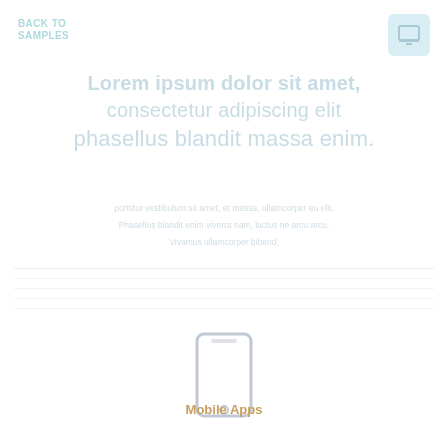BACK TO SAMPLES
Lorem ipsum dolor sit amet, consectetur adipiscing elit phasellus blandit massa enim.
porttitor vestibulum sit amet, et massa, ullamcorper eu elit. Phasellus blandit enim viverra nam, luctus ne arcu arcu. Vivamus ullamcorper bibend.
[Figure (illustration): Mobile phone / smartphone icon outline]
Mobile Apps